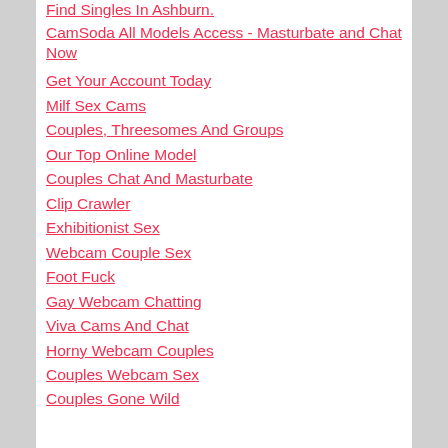Find Singles In Ashburn.
CamSoda All Models Access - Masturbate and Chat Now
Get Your Account Today
Milf Sex Cams
Couples, Threesomes And Groups
Our Top Online Model
Couples Chat And Masturbate
Clip Crawler
Exhibitionist Sex
Webcam Couple Sex
Foot Fuck
Gay Webcam Chatting
Viva Cams And Chat
Horny Webcam Couples
Couples Webcam Sex
Couples Gone Wild